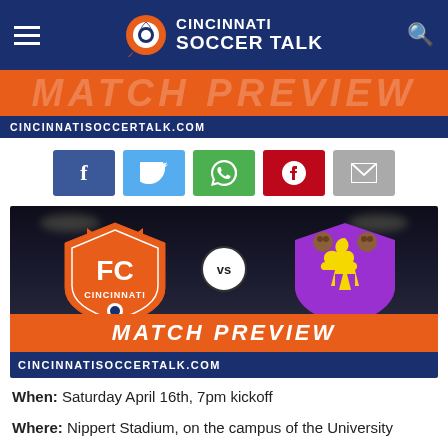Cincinnati Soccer Talk
[Figure (logo): Cincinnati Soccer Talk logo with soccer ball icon, hamburger menu, and search icon on dark blue background]
[Figure (infographic): Match Preview banner: FC Cincinnati vs Fiorentina club crests on stadium background with MATCH PREVIEW text and CINCINNATISOCCERTALK.COM url bar]
[Figure (infographic): Social share buttons: Facebook, Twitter, WhatsApp, Pinterest, Email]
When: Saturday April 16th, 7pm kickoff
Where: Nippert Stadium, on the campus of the University